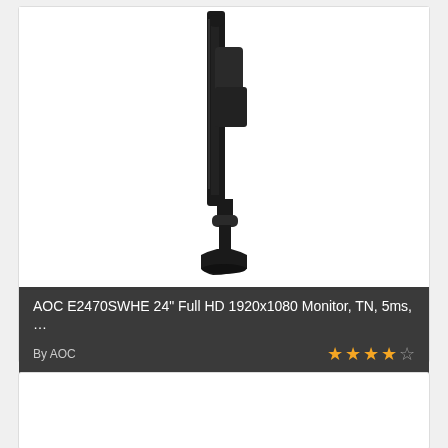[Figure (photo): Side profile view of AOC E2470SWHE 24-inch monitor showing the thin bezel on the left, the stand/neck, and base. The monitor is shown from the side in a dark/black color against a white background.]
AOC E2470SWHE 24" Full HD 1920x1080 Monitor, TN, 5ms, ...
By AOC
[Figure (photo): Bottom card area, mostly white/empty — partial product image card]